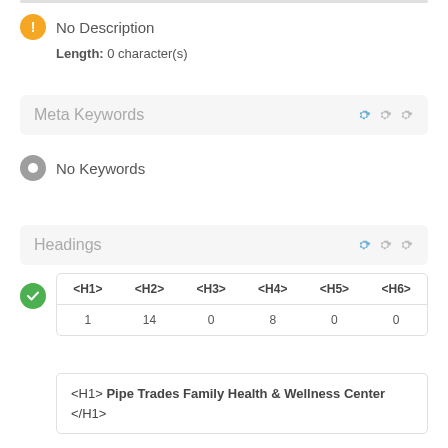No Description
Length: 0 character(s)
Meta Keywords
No Keywords
Headings
| <H1> | <H2> | <H3> | <H4> | <H5> | <H6> |
| --- | --- | --- | --- | --- | --- |
| 1 | 14 | 0 | 8 | 0 | 0 |
<H1> Pipe Trades Family Health & Wellness Center </H1>